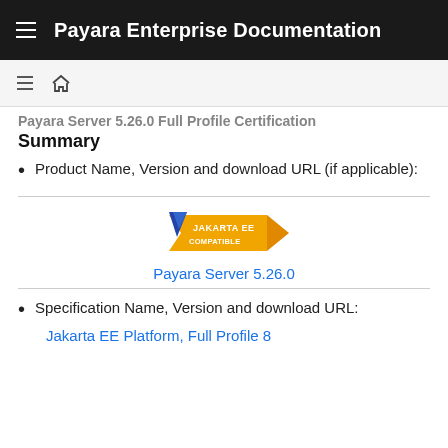Payara Enterprise Documentation
Payara Server 5.26.0 Full Profile Certification Summary
Product Name, Version and download URL (if applicable):
[Figure (logo): Jakarta EE Compatible logo badge]
Payara Server 5.26.0
Specification Name, Version and download URL:
Jakarta EE Platform, Full Profile 8